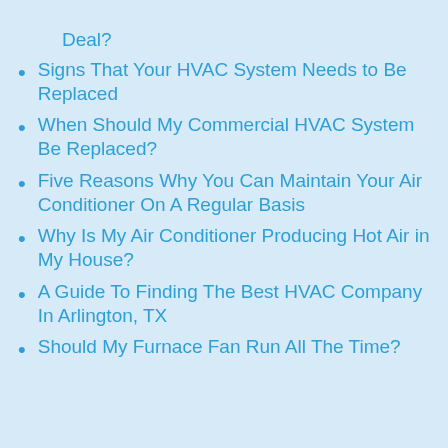Deal?
Signs That Your HVAC System Needs to Be Replaced
When Should My Commercial HVAC System Be Replaced?
Five Reasons Why You Can Maintain Your Air Conditioner On A Regular Basis
Why Is My Air Conditioner Producing Hot Air in My House?
A Guide To Finding The Best HVAC Company In Arlington, TX
Should My Furnace Fan Run All The Time?